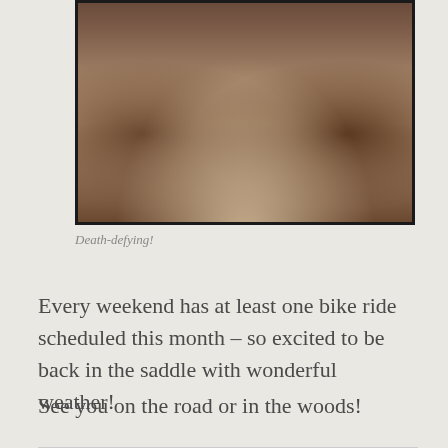[Figure (photo): Sepia-toned photograph of a path or trail with trees, a wooden fence on the right side, and a large tree leaning overhead. A person visible in the distance. Dark border around the image.]
Death-defying!
Every weekend has at least one bike ride scheduled this month – so excited to be back in the saddle with wonderful weather!
See you on the road or in the woods!